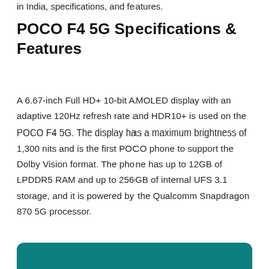in India, specifications, and features.
POCO F4 5G Specifications & Features
A 6.67-inch Full HD+ 10-bit AMOLED display with an adaptive 120Hz refresh rate and HDR10+ is used on the POCO F4 5G. The display has a maximum brightness of 1,300 nits and is the first POCO phone to support the Dolby Vision format. The phone has up to 12GB of LPDDR5 RAM and up to 256GB of internal UFS 3.1 storage, and it is powered by the Qualcomm Snapdragon 870 5G processor.
[Figure (other): Teal/dark cyan colored decorative bar at the bottom of the page]